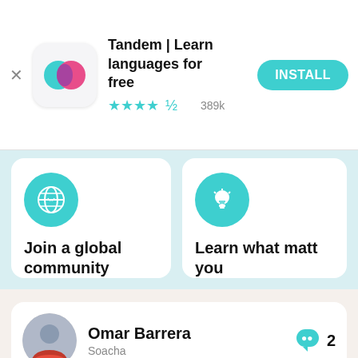[Figure (screenshot): App store ad banner for Tandem app showing app icon, title, star rating, and install button]
Tandem | Learn languages for free
★★★★½ 389k
INSTALL
[Figure (screenshot): Feature cards section with teal background showing two cards: globe icon with 'Join a global community' and lightbulb icon with 'Learn what matt... you']
Join a global community
Learn what matt... you
[Figure (screenshot): User profile card for Omar Barrera from Soacha with profile photo and message count badge showing 2]
Omar Barrera
Soacha
2